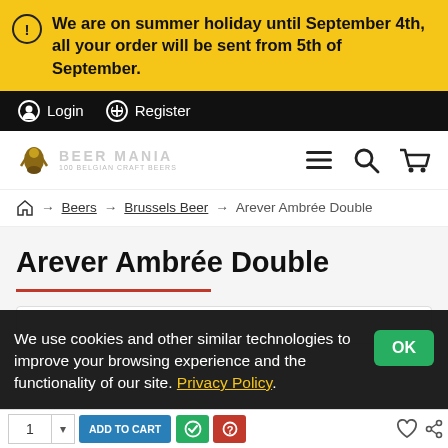We are on summer holiday until September 4th, all your order will be sent from 5th of September.
Login  Register
[Figure (logo): Beer Mania logo with text 'BEER MANIA' and '100 Belgian Craft Beers']
⌂ → Beers → Brussels Beer → Arever Ambrée Double
Arever Ambrée Double
We use cookies and other similar technologies to improve your browsing experience and the functionality of our site. Privacy Policy.
ADD TO CART